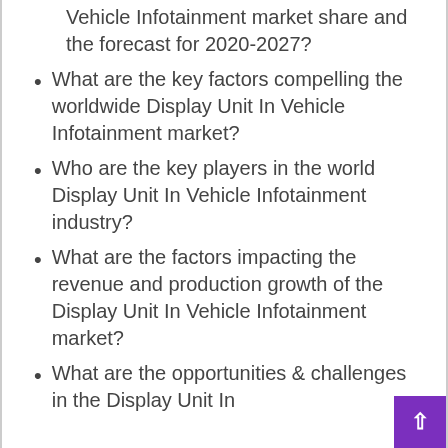Vehicle Infotainment market share and the forecast for 2020-2027?
What are the key factors compelling the worldwide Display Unit In Vehicle Infotainment market?
Who are the key players in the world Display Unit In Vehicle Infotainment industry?
What are the factors impacting the revenue and production growth of the Display Unit In Vehicle Infotainment market?
What are the opportunities & challenges in the Display Unit In